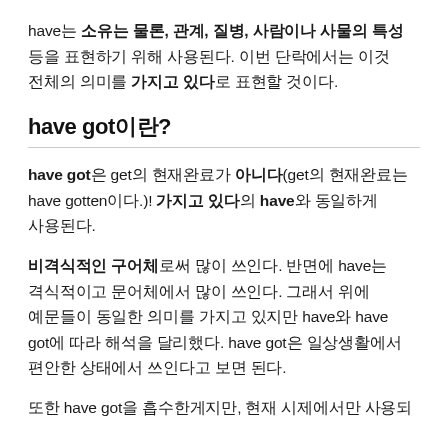have는 소유는 물론, 관계, 질병, 사람이나 사물의 특성 등을 표현하기 위해 사용된다. 이번 단락에서는 이것 전체의 의미를 가지고 있다로 표현할 것이다.
have got이란?
have got은 get의 현재완료가 아니다(get의 현재완료는 have gotten이다.)! 가지고 있다의 have와 동일하게 사용된다.
비격식적인 구어체로써 많이 쓰인다. 반면에 have는 격식적이고 문어체에서 많이 쓰인다. 그래서 위에 예문들이 동일한 의미를 가지고 있지만 have와 have got에 따라 해석을 달리했다. have got은 일상생활에서 편안한 상태에서 쓰인다고 보면 된다.
또한 have got을 흡수한게지만, 현재 시제에서만 사용되